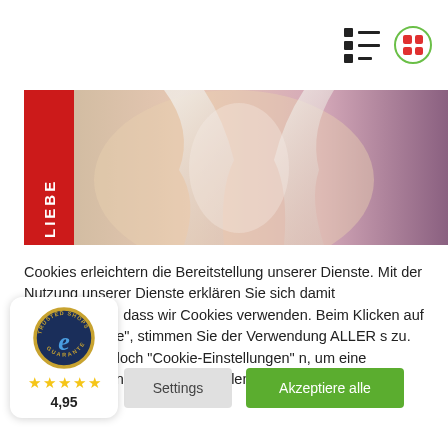[Figure (screenshot): Navigation bar with list/grid view toggle icons (list icon and grid icon with green circle border)]
[Figure (photo): Banner image showing a red vertical 'LIEBE' text label on the left and an abstract warm-toned background with soft light shapes (wings/hands) in orange, pink, and purple hues]
Cookies erleichtern die Bereitstellung unserer Dienste. Mit der Nutzung unserer Dienste erklären Sie sich damit einverstanden, dass wir Cookies verwenden. Beim Klicken auf "Akzeptiere alle", stimmen Sie der Verwendung ALLER s zu. Sie können jedoch "Cookie-Einstellungen" n, um eine kontrollierte Einwilligung zu erteilen.
[Figure (logo): Trusted Shops Guarantee badge with blue circle, italic 'e' logo, gold star rating of 4.95 stars]
Settings
Akzeptiere alle